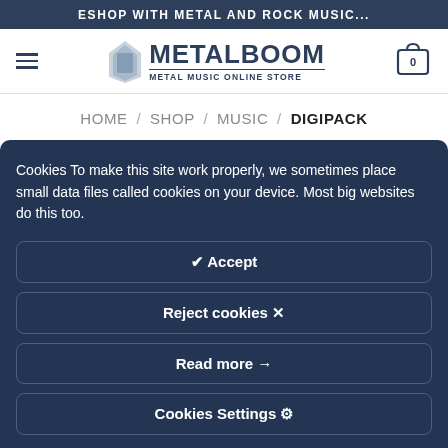ESHOP WITH METAL AND ROCK MUSIC...
[Figure (logo): Metalboom Metal Music Online Store logo with shopping cart and hamburger menu]
HOME / SHOP / MUSIC / DIGIPACK
Cookies To make this site work properly, we sometimes place small data files called cookies on your device. Most big websites do this too.
✔ Accept
Reject cookies ✕
Read more →
Cookies Settings ✦